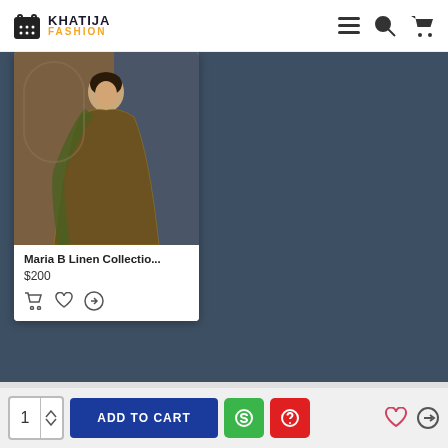KHATIJA FASHION
[Figure (photo): Fashion e-commerce product page showing a product card with a woman in a Maria B Linen Collection dress, priced at $200, with add to cart, wishlist, and compare icons. Dark blue-grey background. Social media icons bar at bottom (Facebook, Instagram, Pinterest, Twitter, LinkedIn, YouTube). Bottom bar with quantity selector, ADD TO CART button, and action buttons.]
Maria B Linen Collectio...
$200
ADD TO CART